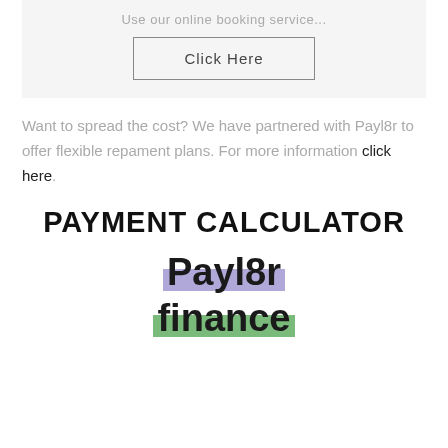Use our online booking service...
[Figure (other): Click Here button with border]
Want to spread the cost? We have partnered with Payl8r to offer flexible repament plans. For more information click here.
PAYMENT CALCULATOR
[Figure (logo): Payl8r finance logo with purple highlight behind Payl8r and green highlight behind finance]